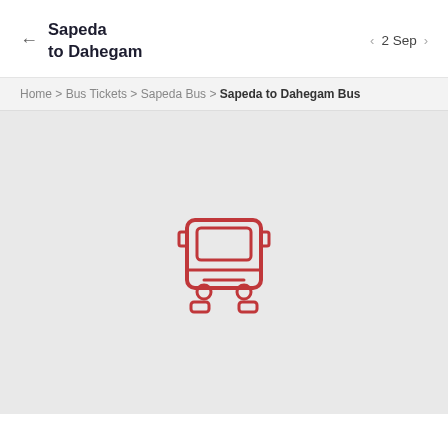Sapeda to Dahegam
2 Sep
Home > Bus Tickets > Sapeda Bus > Sapeda to Dahegam Bus
[Figure (illustration): Red outline icon of a bus (front view) on a light grey background, indicating no results found.]